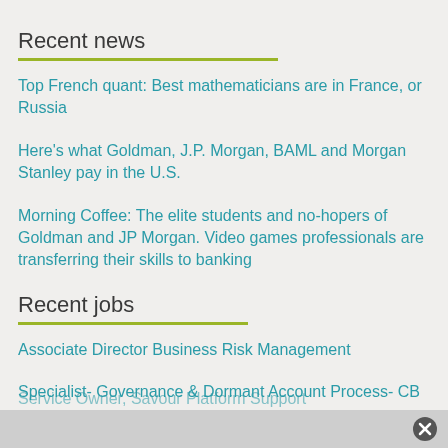Recent news
Top French quant: Best mathematicians are in France, or Russia
Here's what Goldman, J.P. Morgan, BAML and Morgan Stanley pay in the U.S.
Morning Coffee: The elite students and no-hopers of Goldman and JP Morgan. Video games professionals are transferring their skills to banking
Recent jobs
Associate Director Business Risk Management
Specialist- Governance & Dormant Account Process- CB
Service Owner, Savour Platform Support